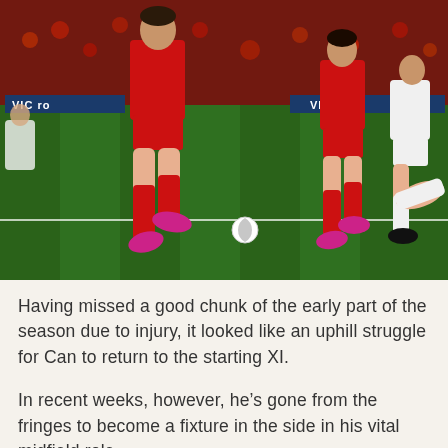[Figure (photo): A football/soccer match photo showing players in red Liverpool kits running on a green pitch. Advertising boards with 'VICTOR' text visible in background. Players' legs and boots are prominent in the foreground.]
Having missed a good chunk of the early part of the season due to injury, it looked like an uphill struggle for Can to return to the starting XI.
In recent weeks, however, he's gone from the fringes to become a fixture in the side in his vital midfield role.